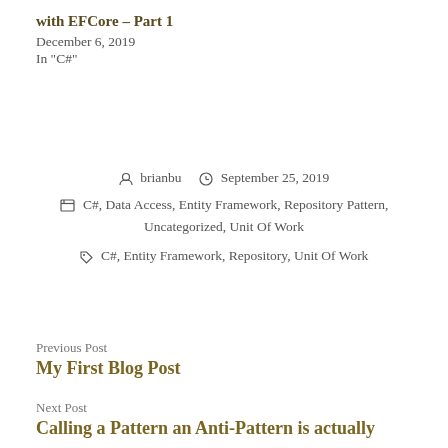with EFCore – Part 1
December 6, 2019
In "C#"
brianbu   September 25, 2019
C#, Data Access, Entity Framework, Repository Pattern, Uncategorized, Unit Of Work
C#, Entity Framework, Repository, Unit Of Work
Previous Post
My First Blog Post
Next Post
Calling a Pattern an Anti-Pattern is actually